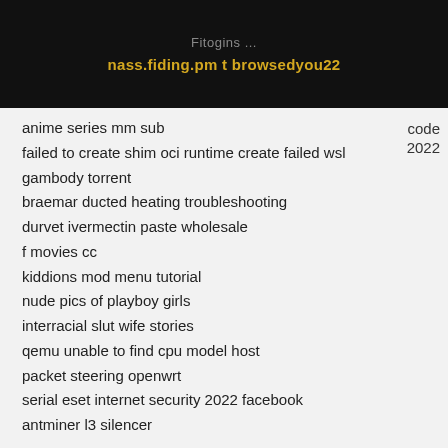nass.fiding.pm t browsedyou22
code
2022
anime series mm sub
failed to create shim oci runtime create failed wsl
gambody torrent
braemar ducted heating troubleshooting
durvet ivermectin paste wholesale
f movies cc
kiddions mod menu tutorial
nude pics of playboy girls
interracial slut wife stories
qemu unable to find cpu model host
packet steering openwrt
serial eset internet security 2022 facebook
antminer l3 silencer